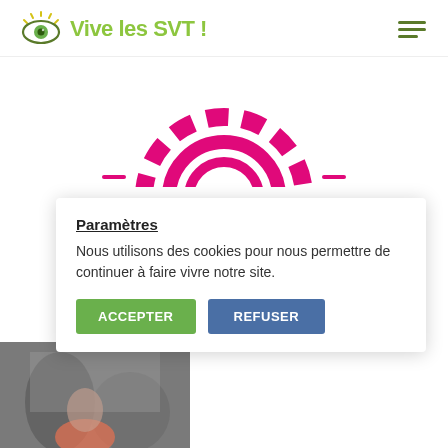[Figure (logo): Vive les SVT! logo with eye icon and green handwritten text]
[Figure (illustration): Pink decorative circular/sun graphic with French text, partially visible and upside-down]
Contact partenariats
Tél : 05 55 24 14 03
contact@comdhabitude.fr
Paramètres
Nous utilisons des cookies pour nous permettre de continuer à faire vivre notre site.
ACCEPTER    REFUSER
[Figure (photo): Partial photo of people in the bottom left corner]